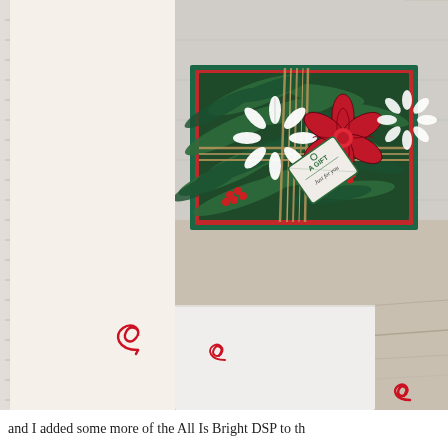[Figure (photo): A handmade Christmas card decorated with evergreen branches, red berries, a large red bow, white snowflake embellishments, twine ribbon, and a 'A Gift Just For You' tag. The card is displayed on a wood floor background.]
and I added some more of the All Is Bright DSP to th